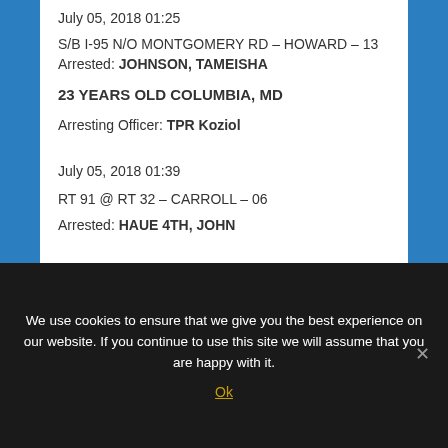July 05, 2018 01:25
S/B I-95 N/O MONTGOMERY RD – HOWARD – 13
Arrested: JOHNSON, TAMEISHA
23 YEARS OLD COLUMBIA, MD
Arresting Officer: TPR Koziol
July 05, 2018 01:39
RT 91 @ RT 32 – CARROLL – 06
Arrested: HAUE 4TH, JOHN
We use cookies to ensure that we give you the best experience on our website. If you continue to use this site we will assume that you are happy with it.
Ok